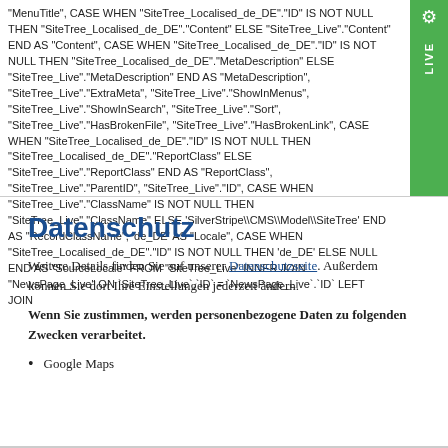"MenuTitle", CASE WHEN "SiteTree_Localised_de_DE"."ID" IS NOT NULL THEN "SiteTree_Localised_de_DE"."Content" ELSE "SiteTree_Live"."Content" END AS "Content", CASE WHEN "SiteTree_Localised_de_DE"."ID" IS NOT NULL THEN "SiteTree_Localised_de_DE"."MetaDescription" ELSE "SiteTree_Live"."MetaDescription" END AS "MetaDescription", "SiteTree_Live"."ExtraMeta", "SiteTree_Live"."ShowInMenus", "SiteTree_Live"."ShowInSearch", "SiteTree_Live"."Sort", "SiteTree_Live"."HasBrokenFile", "SiteTree_Live"."HasBrokenLink", CASE WHEN "SiteTree_Localised_de_DE"."ID" IS NOT NULL THEN "SiteTree_Localised_de_DE"."ReportClass" ELSE "SiteTree_Live"."ReportClass" END AS "ReportClass", "SiteTree_Live"."ParentID", "SiteTree_Live"."ID", CASE WHEN "SiteTree_Live"."ClassName" IS NOT NULL THEN "SiteTree_Live"."ClassName" ELSE 'SilverStripe\\CMS\\Model\\SiteTree' END AS "RecordClassName", 'de_DE' AS "Locale", CASE WHEN "SiteTree_Localised_de_DE"."ID" IS NOT NULL THEN 'de_DE' ELSE NULL END AS "SourceLocale" FROM "SiteTree_Live" INNER JOIN "NewsPage_Live" ON `SiteTree_Live`.`ID` = `NewsPage_Live`.`ID` LEFT JOIN
Datenschutz
Weitere Details finden Sie auf unserer Datenschutzseite. Außerdem können Sie dort Ihre Einstellungen jederzeit ändern.
Wenn Sie zustimmen, werden personenbezogene Daten zu folgenden Zwecken verarbeitet.
Google Maps